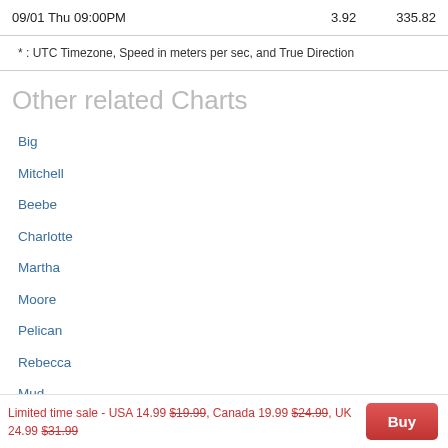| Date/Time | Speed | Direction |
| --- | --- | --- |
| 09/01 Thu 09:00PM | 3.92 | 335.82 |
* : UTC Timezone, Speed in meters per sec, and True Direction
Other related Charts
Big
Mitchell
Beebe
Charlotte
Martha
Moore
Pelican
Rebecca
Mud
Limited time sale - USA 14.99 $19.99, Canada 19.99 $24.99, UK 24.99 $31.99